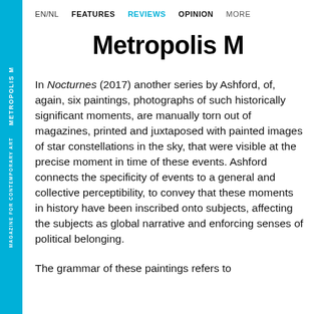EN/NL  FEATURES  REVIEWS  OPINION  MORE
Metropolis M
In Nocturnes (2017) another series by Ashford, of, again, six paintings, photographs of such historically significant moments, are manually torn out of magazines, printed and juxtaposed with painted images of star constellations in the sky, that were visible at the precise moment in time of these events. Ashford connects the specificity of events to a general and collective perceptibility, to convey that these moments in history have been inscribed onto subjects, affecting the subjects as global narrative and enforcing senses of political belonging.
The grammar of these paintings refers to